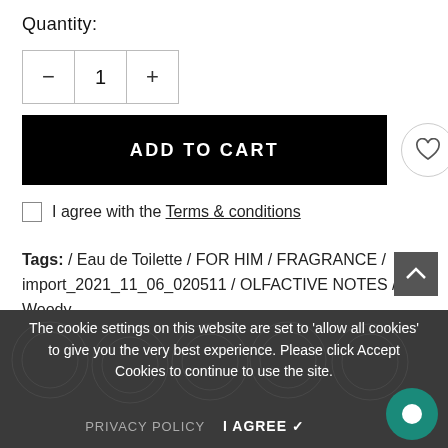Quantity:
[Figure (other): Quantity selector with minus button, number 1, and plus button]
[Figure (other): ADD TO CART button (black) with heart icon and share icon]
I agree with the Terms & conditions
Tags: / Eau de Toilette / FOR HIM / FRAGRANCE / import_2021_11_06_020511 / OLFACTIVE NOTES / Woody
The cookie settings on this website are set to 'allow all cookies' to give you the very best experience. Please click Accept Cookies to continue to use the site.
PRIVACY POLICY   I AGREE ✓